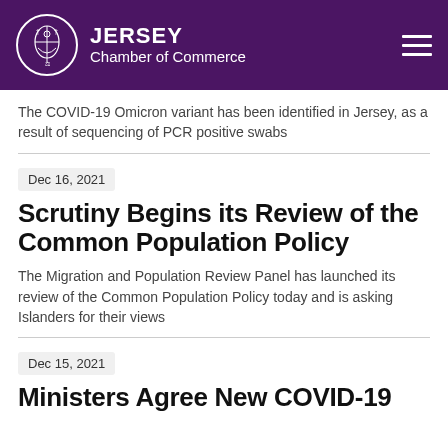[Figure (logo): Jersey Chamber of Commerce logo with circular emblem and white text on purple background]
The COVID-19 Omicron variant has been identified in Jersey, as a result of sequencing of PCR positive swabs
Dec 16, 2021
Scrutiny Begins its Review of the Common Population Policy
The Migration and Population Review Panel has launched its review of the Common Population Policy today and is asking Islanders for their views
Dec 15, 2021
Ministers Agree New COVID-19